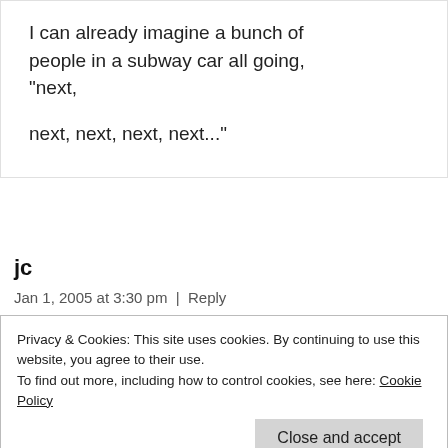I can already imagine a bunch of people in a subway car all going, "next,

next, next, next, next..."
jc
Jan 1, 2005 at 3:30 pm | Reply
Privacy & Cookies: This site uses cookies. By continuing to use this website, you agree to their use.
To find out more, including how to control cookies, see here: Cookie Policy
Close and accept
next, next, next, next..."